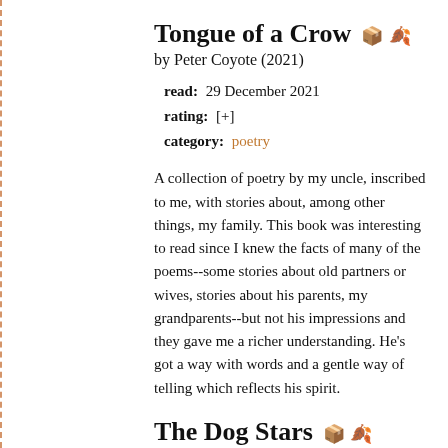Tongue of a Crow
by Peter Coyote (2021)
read: 29 December 2021
rating: [+]
category: poetry
A collection of poetry by my uncle, inscribed to me, with stories about, among other things, my family. This book was interesting to read since I knew the facts of many of the poems--some stories about old partners or wives, stories about his parents, my grandparents--but not his impressions and they gave me a richer understanding. He's got a way with words and a gentle way of telling which reflects his spirit.
The Dog Stars
by Peter Heller (2012)
read: 29 December 2021
rating: [+]
category: fiction